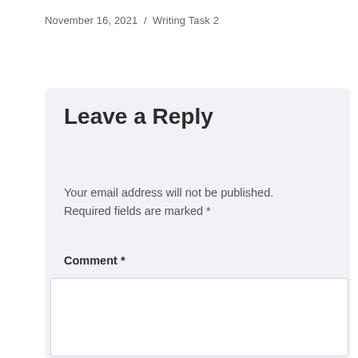November 16, 2021  /  Writing Task 2
Leave a Reply
Your email address will not be published. Required fields are marked *
Comment *